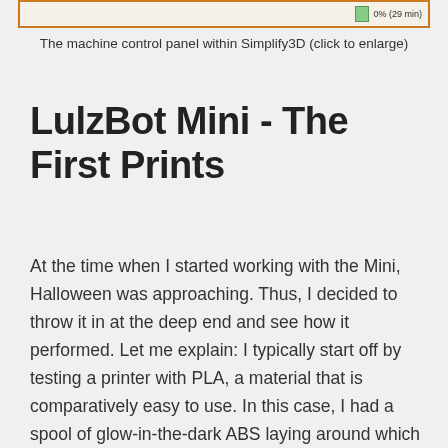[Figure (screenshot): Machine control panel within Simplify3D showing a progress bar reading 0% (29 min) with an orange border]
The machine control panel within Simplify3D (click to enlarge)
LulzBot Mini - The First Prints
At the time when I started working with the Mini, Halloween was approaching. Thus, I decided to throw it in at the deep end and see how it performed. Let me explain: I typically start off by testing a printer with PLA, a material that is comparatively easy to use. In this case, I had a spool of glow-in-the-dark ABS laying around which I had tried unsuccessfully on another printer before. I was very quickly impressed by how well the LulzBot handled the ABS. It churned out print